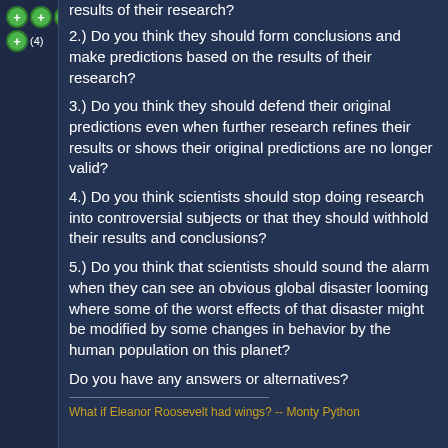results of their research?
2.) Do you think they should form conclusions and make predictions based on the results of their research?
3.) Do you think they should defend their original predictions even when further research refines their results or shows their original predictions are no longer valid?
4.) Do you think scientists should stop doing research into controversial subjects or that they should withhold their results and conclusions?
5.) Do you think that scientists should sound the alarm when they can see an obvious global disaster looming where some of the worst effects of that disaster might be modified by some changes in behavior by the human population on this planet?
Do you have any answers or alternatives?
What if Eleanor Roosevelt had wings? -- Monty Python